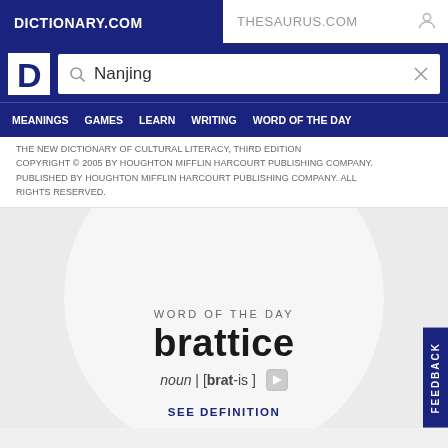DICTIONARY.COM   THESAURUS.COM
[Figure (screenshot): Dictionary.com logo (white D on blue background) and search bar with 'Nanjing' typed in]
MEANINGS  GAMES  LEARN  WRITING  WORD OF THE DAY
THE NEW DICTIONARY OF CULTURAL LITERACY, THIRD EDITION COPYRIGHT © 2005 BY HOUGHTON MIFFLIN HARCOURT PUBLISHING COMPANY. PUBLISHED BY HOUGHTON MIFFLIN HARCOURT PUBLISHING COMPANY. ALL RIGHTS RESERVED.
WORD OF THE DAY
brattice
noun | [brat-is ]
SEE DEFINITION